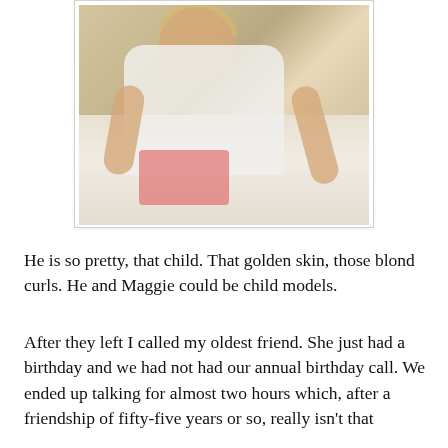[Figure (photo): A young child with blond hair and golden skin, wearing a white patterned t-shirt and pink/salmon shorts, leaning forward with arms extended, photographed from above at an angle.]
He is so pretty, that child. That golden skin, those blond curls. He and Maggie could be child models.
After they left I called my oldest friend. She just had a birthday and we had not had our annual birthday call. We ended up talking for almost two hours which, after a friendship of fifty-five years or so, really isn't that